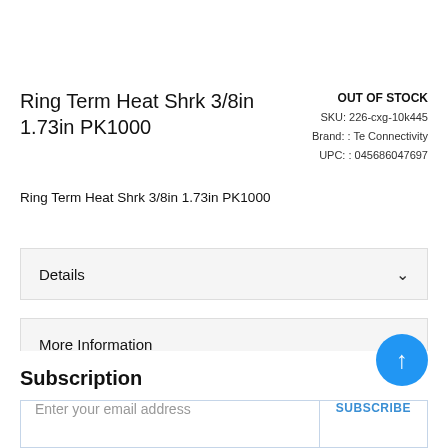Ring Term Heat Shrk 3/8in 1.73in PK1000
OUT OF STOCK
SKU: 226-cxg-10k445
Brand: : Te Connectivity
UPC: : 045686047697
Ring Term Heat Shrk 3/8in 1.73in PK1000
Details
More Information
Subscription
Enter your email address
SUBSCRIBE